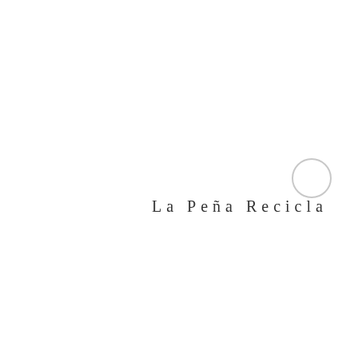[Figure (logo): A light gray circle outline positioned in the upper-right area of the logo, partially overlapping with the text. Below and to the left is the text 'La Peña Recicla' in spaced dark gray sans-serif letters.]
La Peña Recicla